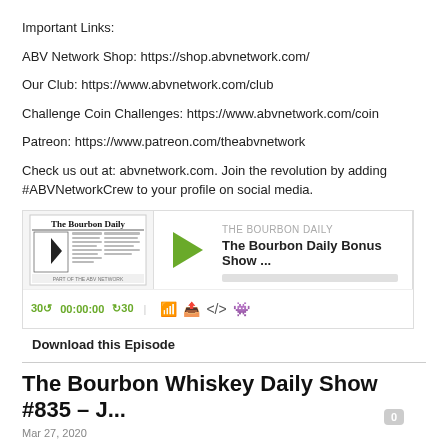Important Links:
ABV Network Shop: https://shop.abvnetwork.com/
Our Club: https://www.abvnetwork.com/club
Challenge Coin Challenges: https://www.abvnetwork.com/coin
Patreon: https://www.patreon.com/theabvnetwork
Check us out at: abvnetwork.com. Join the revolution by adding #ABVNetworkCrew to your profile on social media.
[Figure (screenshot): Audio player widget for The Bourbon Daily Bonus Show episode, showing newspaper logo thumbnail, play button, episode title, progress bar, and playback controls including 30-second skip, time display 00:00:00, and share icons.]
Download this Episode
The Bourbon Whiskey Daily Show #835 – J...
Mar 27, 2020
Steve and Christi interview Joe Beatrice, Founder of Barrell Craft Spirits.